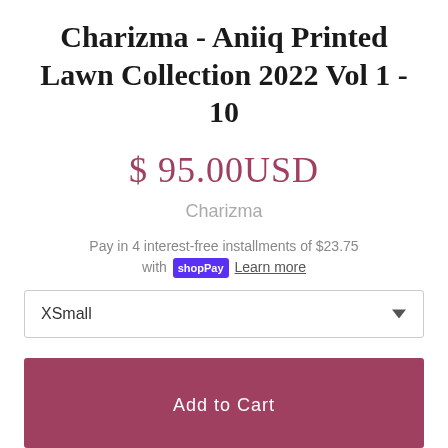Charizma - Aniiq Printed Lawn Collection 2022 Vol 1 - 10
$ 95.00USD
Charizma
Pay in 4 interest-free installments of $23.75 with shopPay. Learn more
XSmall
1
Add to Cart